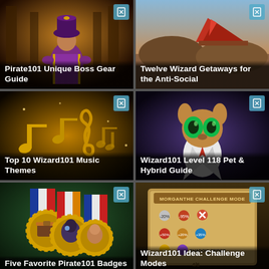[Figure (screenshot): Pirate101 character in purple costume in dramatic indoor scene]
Pirate101 Unique Boss Gear Guide
[Figure (screenshot): Wizard101 desert landscape with red tent/structure]
Twelve Wizard Getaways for the Anti-Social
[Figure (screenshot): Wizard101 golden music notes floating in dark background]
Top 10 Wizard101 Music Themes
[Figure (screenshot): Wizard101 fuzzy creature character in suit with glowing eyes]
Wizard101 Level 118 Pet & Hybrid Guide
[Figure (screenshot): Pirate101 medals/badges with colorful ribbons]
Five Favorite Pirate101 Badges
[Figure (screenshot): Wizard101 Morganthe Challenge Mode game interface screen]
Wizard101 Idea: Challenge Modes